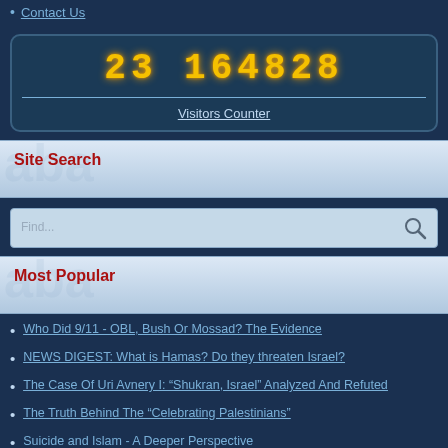Contact Us
[Figure (other): Visitors counter display showing the number 23164828 in yellow LED-style digits on a dark blue box, with 'Visitors Counter' label below a horizontal divider]
Site Search
[Figure (other): Search input box with a magnifying glass icon on the right]
Most Popular
Who Did 9/11 - OBL, Bush Or Mossad? The Evidence
NEWS DIGEST: What is Hamas? Do they threaten Israel?
The Case Of Uri Avnery I: “Shukran, Israel” Analyzed And Refuted
The Truth Behind The “Celebrating Palestinians”
Suicide and Islam - A Deeper Perspective